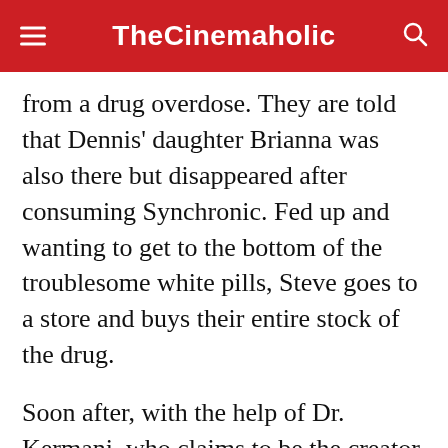TheCinemaholic
from a drug overdose. They are told that Dennis' daughter Brianna was also there but disappeared after consuming Synchronic. Fed up and wanting to get to the bottom of the troublesome white pills, Steve goes to a store and buys their entire stock of the drug.
Soon after, with the help of Dr. Kermani, who claims to be the creator of Synchronic, Steve begins to unravel the effects of the drug. He finds that it allows those with an uncalcified pineal gland (like his) to travel back in time. Through further experimentation, he figures out that he can control what period he goes